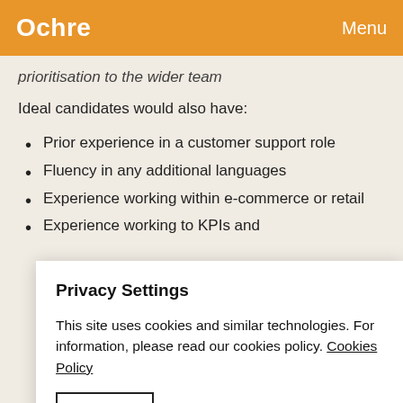Ochre   Menu
prioritisation to the wider team
Ideal candidates would also have:
Prior experience in a customer support role
Fluency in any additional languages
Experience working within e-commerce or retail
Experience working to KPIs and
Privacy Settings
This site uses cookies and similar technologies. For information, please read our cookies policy. Cookies Policy
Allow All
Manage Consent Preferences